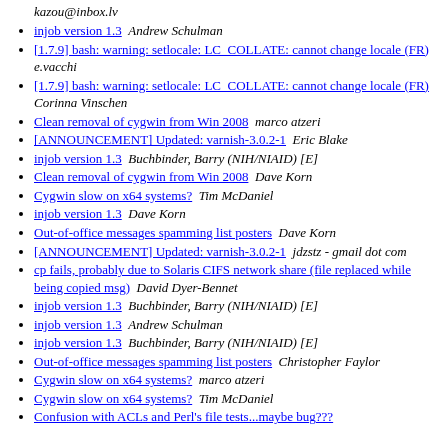kazou@inbox.lv
injob version 1.3  Andrew Schulman
[1.7.9] bash: warning: setlocale: LC_COLLATE: cannot change locale (FR)  e.vacchi
[1.7.9] bash: warning: setlocale: LC_COLLATE: cannot change locale (FR)  Corinna Vinschen
Clean removal of cygwin from Win 2008  marco atzeri
[ANNOUNCEMENT] Updated: varnish-3.0.2-1  Eric Blake
injob version 1.3  Buchbinder, Barry (NIH/NIAID) [E]
Clean removal of cygwin from Win 2008  Dave Korn
Cygwin slow on x64 systems?  Tim McDaniel
injob version 1.3  Dave Korn
Out-of-office messages spamming list posters  Dave Korn
[ANNOUNCEMENT] Updated: varnish-3.0.2-1  jdzstz - gmail dot com
cp fails, probably due to Solaris CIFS network share (file replaced while being copied msg)  David Dyer-Bennet
injob version 1.3  Buchbinder, Barry (NIH/NIAID) [E]
injob version 1.3  Andrew Schulman
injob version 1.3  Buchbinder, Barry (NIH/NIAID) [E]
Out-of-office messages spamming list posters  Christopher Faylor
Cygwin slow on x64 systems?  marco atzeri
Cygwin slow on x64 systems?  Tim McDaniel
Confusion with ACLs and Perl's file tests...maybe bug???